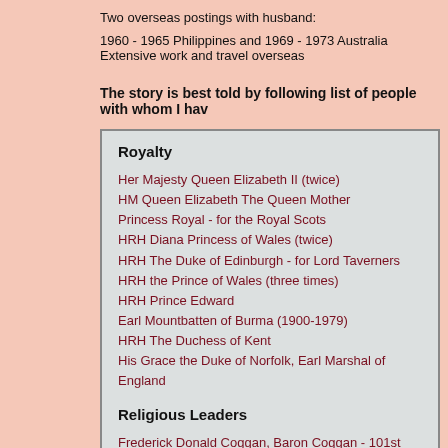Two overseas postings with husband:
1960 - 1965 Philippines and 1969 - 1973 Australia
Extensive work and travel overseas
The story is best told by following list of people with whom I hav
Royalty
Her Majesty Queen Elizabeth II (twice)
HM Queen Elizabeth The Queen Mother
Princess Royal - for the Royal Scots
HRH Diana Princess of Wales (twice)
HRH The Duke of Edinburgh - for Lord Taverners
HRH the Prince of Wales (three times)
HRH Prince Edward
Earl Mountbatten of Burma (1900-1979)
HRH The Duchess of Kent
His Grace the Duke of Norfolk, Earl Marshal of England
Religious Leaders
Frederick Donald Coggan, Baron Coggan - 101st Archbishop of Canterbury 1974 - 1980
Robert Runcie, Baron Runcie of Cuddesdon, 102nd Archbishop of Canterbury 1980 - 1991
Rt Hon George Carey, 103rd Archbishop of Canterbury, 1991 - 2002
James Thompson - Bishop of Bath and Wells
Members of the Armed Forces